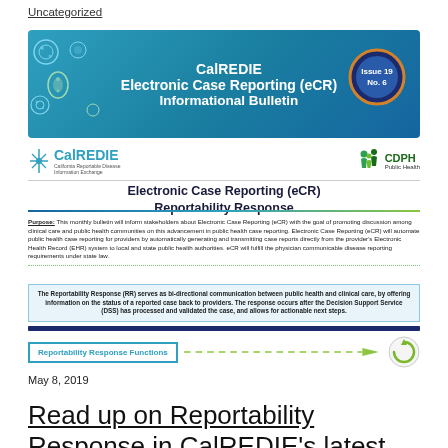Uncategorized
[Figure (illustration): CalREDIE Electronic Case Reporting (eCR) Informational Bulletin banner with teal/blue gradient background, decorative microbe icons on left, Issue 19 No. 6 badge on right]
[Figure (logo): CalREDIE logo and CDPH Public Health logo on white bar]
Electronic Case Reporting (eCR) Reportability Response
Purpose: This monthly bulletin will inform stakeholders about Electronic Case Reporting (eCR) with the goal of promoting discussion among clinical care and public health communities on this advancement in public health case reporting. Electronic Case Reporting (eCR) will automate public health case reporting for providers by automatically generating and transmitting case reports directly from the provider's Electronic Health Record (EHR) system to local and state public health authorities. eCR will fulfill the physician communicable disease reporting requirements under state law.
The Reportability Response (RR) serves as bi-directional communication between public health and clinical care, by offering information on the status of a reported case back to providers. The response occurs after the Decision Support Service (DSS) has processed and validated the case, and allows for actionable next steps.
[Figure (infographic): Reportability Response Functions box with teal border, dotted arrow pointing right to a green cycle/refresh icon]
May 8, 2019
Read up on Reportability Response in CalREDIE's latest